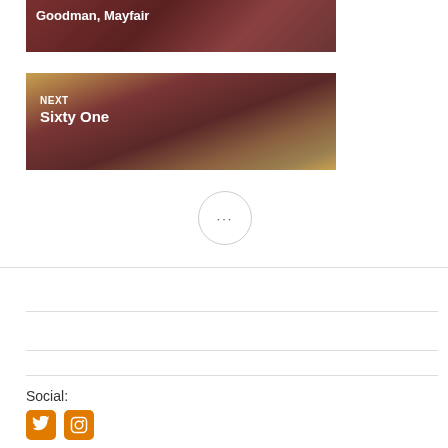[Figure (photo): Food photo – grilled steak, labeled Goodman, Mayfair]
[Figure (photo): Food photo with NEXT / Sixty One overlay label on colourful plate with meat and fruit]
···
About
Get in touch
Social: